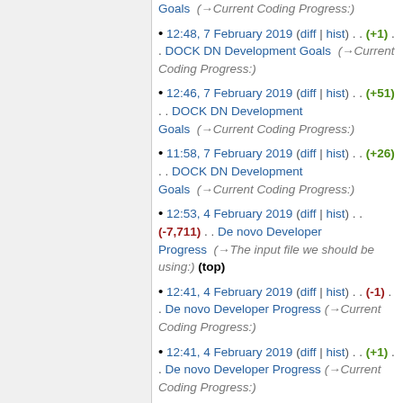Goals (→Current Coding Progress:)
12:48, 7 February 2019 (diff | hist) . . (+1) . . DOCK DN Development Goals (→Current Coding Progress:)
12:46, 7 February 2019 (diff | hist) . . (+51) . . DOCK DN Development Goals (→Current Coding Progress:)
11:58, 7 February 2019 (diff | hist) . . (+26) . . DOCK DN Development Goals (→Current Coding Progress:)
12:53, 4 February 2019 (diff | hist) . . (-7,711) . . De novo Developer Progress (→The input file we should be using:) (top)
12:41, 4 February 2019 (diff | hist) . . (-1) . . De novo Developer Progress (→Current Coding Progress:)
12:41, 4 February 2019 (diff | hist) . . (+1) . . De novo Developer Progress (→Current Coding Progress:)